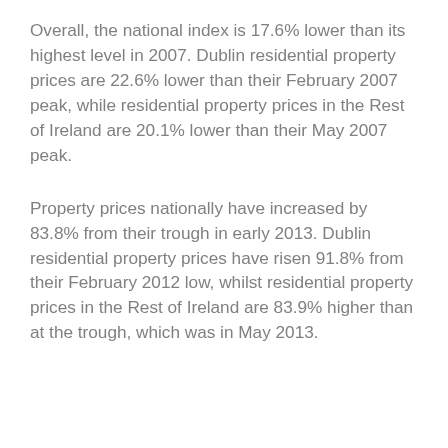Overall, the national index is 17.6% lower than its highest level in 2007. Dublin residential property prices are 22.6% lower than their February 2007 peak, while residential property prices in the Rest of Ireland are 20.1% lower than their May 2007 peak.
Property prices nationally have increased by 83.8% from their trough in early 2013. Dublin residential property prices have risen 91.8% from their February 2012 low, whilst residential property prices in the Rest of Ireland are 83.9% higher than at the trough, which was in May 2013.